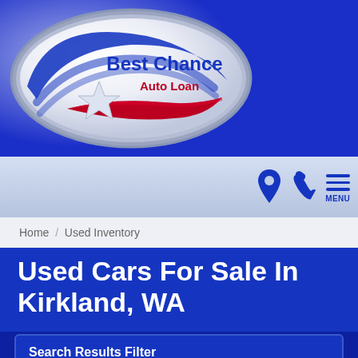[Figure (logo): Best Chance Auto Loan oval logo with swoosh and star on blue background]
[Figure (other): Navigation icons: location pin, phone, hamburger menu with MENU label]
Home / Used Inventory
Used Cars For Sale In Kirkland, WA
Search Results Filter
Search by Keyword
Submit
All Conditions